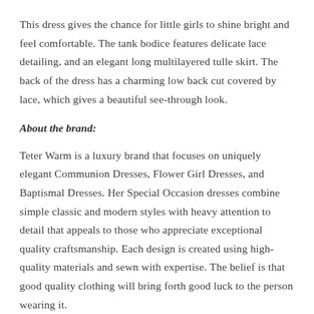This dress gives the chance for little girls to shine bright and feel comfortable. The tank bodice features delicate lace detailing, and an elegant long multilayered tulle skirt. The back of the dress has a charming low back cut covered by lace, which gives a beautiful see-through look.
About the brand:
Teter Warm is a luxury brand that focuses on uniquely elegant Communion Dresses, Flower Girl Dresses, and Baptismal Dresses. Her Special Occasion dresses combine simple classic and modern styles with heavy attention to detail that appeals to those who appreciate exceptional quality craftsmanship. Each design is created using high-quality materials and sewn with expertise. The belief is that good quality clothing will bring forth good luck to the person wearing it.
About the Style: